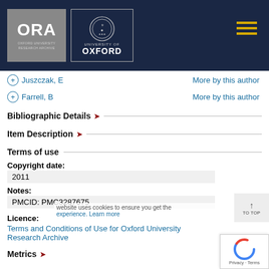[Figure (logo): ORA Oxford University Research Archive logo and University of Oxford seal logo on dark navy header bar with hamburger menu icon]
+ Juszczak, E   More by this author
+ Farrell, B   More by this author
Bibliographic Details ▾
Item Description ▾
Terms of use
Copyright date:
2011
Notes:
PMCID: PMC3287675
Licence:
Terms and Conditions of Use for Oxford University Research Archive
Metrics ▾